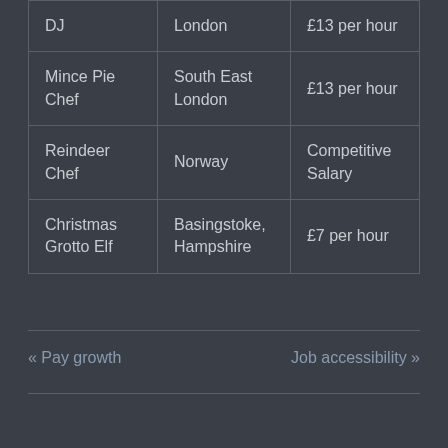| DJ | London | £13 per hour |
| Mince Pie Chef | South East London | £13 per hour |
| Reindeer Chef | Norway | Competitive Salary |
| Christmas Grotto Elf | Basingstoke, Hampshire | £7 per hour |
« Pay growth
Job accessibility »